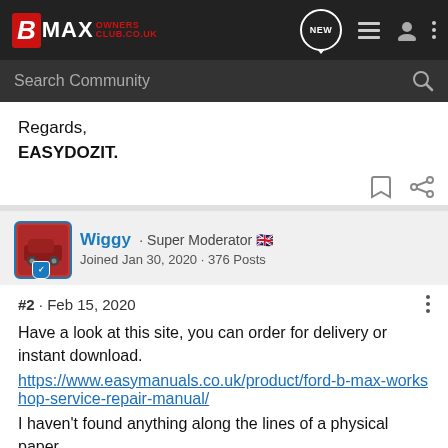B MAX OWNERS CLUB — Navigation bar with search
Regards,
EASYDOZIT.
Wiggy · Super Moderator 🇬🇧
Joined Jan 30, 2020 · 376 Posts
#2 · Feb 15, 2020
Have a look at this site, you can order for delivery or instant download.
https://www.easymanuals.co.uk/product/ford-b-max-workshop-service-repair-manual/
I haven't found anything along the lines of a physical paper